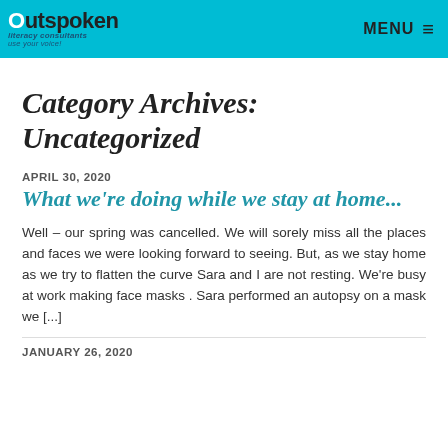Outspoken literacy consultants use your voice! MENU
Category Archives: Uncategorized
APRIL 30, 2020
What we're doing while we stay at home...
Well – our spring was cancelled. We will sorely miss all the places and faces we were looking forward to seeing. But, as we stay home as we try to flatten the curve Sara and I are not resting. We're busy at work making face masks . Sara performed an autopsy on a mask we [...]
JANUARY 26, 2020